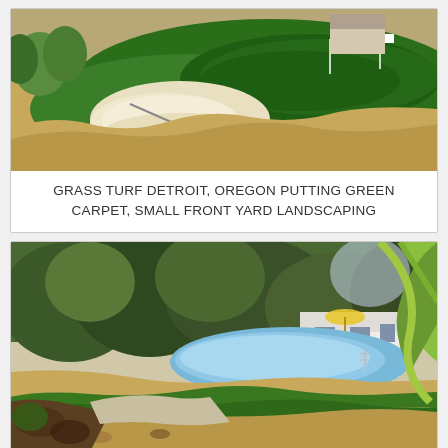[Figure (photo): Aerial view of a grass turf putting green with white sand bunker, golf flag, and surrounding tan sandy ground area]
GRASS TURF DETROIT, OREGON PUTTING GREEN CARPET, SMALL FRONT YARD LANDSCAPING
[Figure (photo): Backyard landscaping with artificial turf curving around a swimming pool, surrounded by trees and a white house structure, with tropical plants in the foreground]